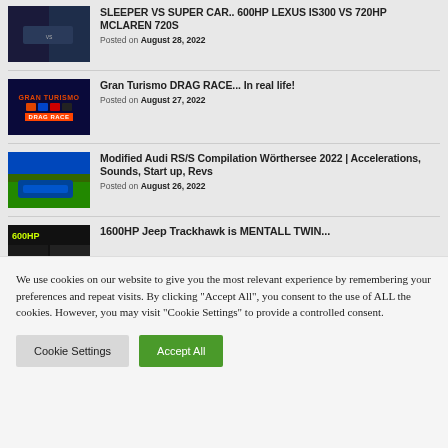SLEEPER VS SUPER CAR.. 600HP LEXUS IS300 VS 720HP MCLAREN 720S
Posted on August 28, 2022
Gran Turismo DRAG RACE... In real life!
Posted on August 27, 2022
Modified Audi RS/S Compilation Wörthersee 2022 | Accelerations, Sounds, Start up, Revs
Posted on August 26, 2022
1600HP Jeep Trackhawk is MENTALL TWIN...
We use cookies on our website to give you the most relevant experience by remembering your preferences and repeat visits. By clicking "Accept All", you consent to the use of ALL the cookies. However, you may visit "Cookie Settings" to provide a controlled consent.